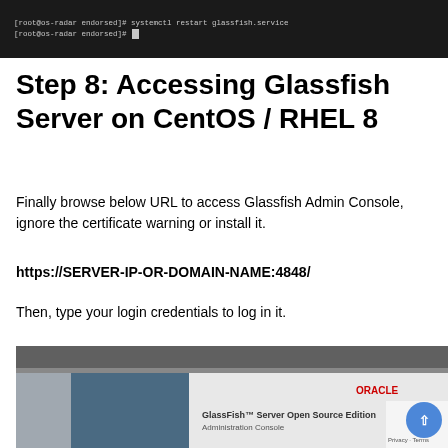[Figure (screenshot): Terminal window showing commands: [root@os-radar endorsed]# systemctl restart glassfish.service and [root@os-radar endorsed]#]
Step 8: Accessing Glassfish Server on CentOS / RHEL 8
Finally browse below URL to access Glassfish Admin Console, ignore the certificate warning or install it.
https://SERVER-IP-OR-DOMAIN-NAME:4848/
Then, type your login credentials to log in it.
[Figure (screenshot): GlassFish Server Open Source Edition Administration Console login page with Oracle branding]